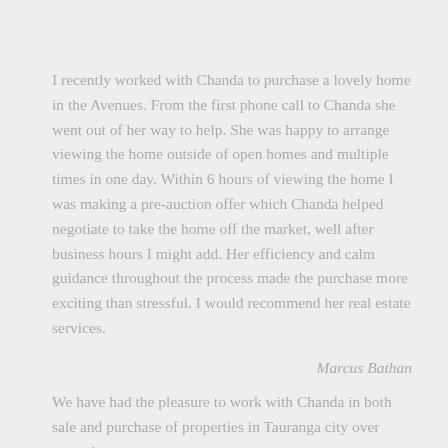I recently worked with Chanda to purchase a lovely home in the Avenues. From the first phone call to Chanda she went out of her way to help. She was happy to arrange viewing the home outside of open homes and multiple times in one day. Within 6 hours of viewing the home I was making a pre-auction offer which Chanda helped negotiate to take the home off the market, well after business hours I might add. Her efficiency and calm guidance throughout the process made the purchase more exciting than stressful. I would recommend her real estate services.
Marcus Bathan
We have had the pleasure to work with Chanda in both sale and purchase of properties in Tauranga city over several